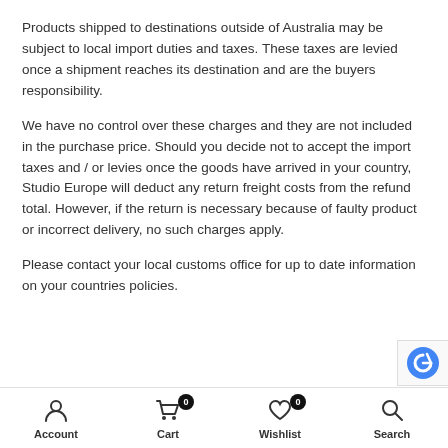Products shipped to destinations outside of Australia may be subject to local import duties and taxes. These taxes are levied once a shipment reaches its destination and are the buyers responsibility.
We have no control over these charges and they are not included in the purchase price. Should you decide not to accept the import taxes and / or levies once the goods have arrived in your country, Studio Europe will deduct any return freight costs from the refund total. However, if the return is necessary because of faulty product or incorrect delivery, no such charges apply.
Please contact your local customs office for up to date information on your countries policies.
Account | Cart 0 | Wishlist 0 | Search